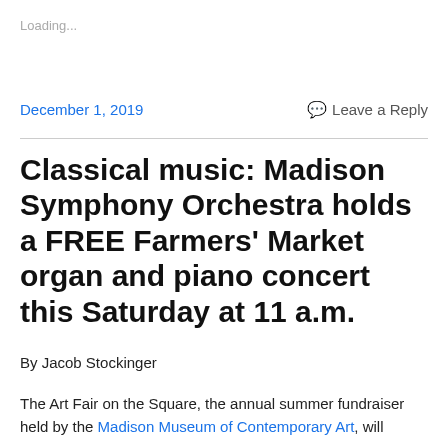Loading...
December 1, 2019
Leave a Reply
Classical music: Madison Symphony Orchestra holds a FREE Farmers' Market organ and piano concert this Saturday at 11 a.m.
By Jacob Stockinger
The Art Fair on the Square, the annual summer fundraiser held by the Madison Museum of Contemporary Art, will